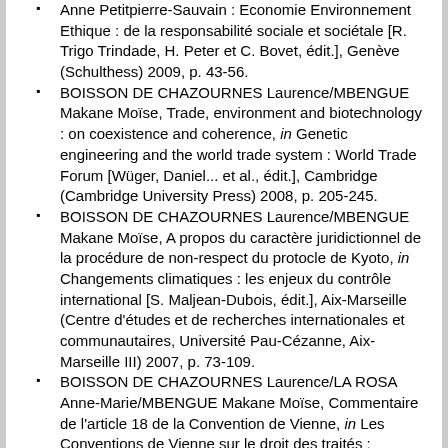Anne Petitpierre-Sauvain : Economie Environnement Ethique : de la responsabilité sociale et sociétale [R. Trigo Trindade, H. Peter et C. Bovet, édit.], Genève (Schulthess) 2009, p. 43-56.
BOISSON DE CHAZOURNES Laurence/MBENGUE Makane Moïse, Trade, environment and biotechnology : on coexistence and coherence, in Genetic engineering and the world trade system : World Trade Forum [Wüger, Daniel... et al., édit.], Cambridge (Cambridge University Press) 2008, p. 205-245.
BOISSON DE CHAZOURNES Laurence/MBENGUE Makane Moïse, A propos du caractère juridictionnel de la procédure de non-respect du protocle de Kyoto, in Changements climatiques : les enjeux du contrôle international [S. Maljean-Dubois, édit.], Aix-Marseille (Centre d'études et de recherches internationales et communautaires, Université Pau-Cézanne, Aix-Marseille III) 2007, p. 73-109.
BOISSON DE CHAZOURNES Laurence/LA ROSA Anne-Marie/MBENGUE Makane Moïse, Commentaire de l'article 18 de la Convention de Vienne, in Les Conventions de Vienne sur le droit des traités : commentaire article par